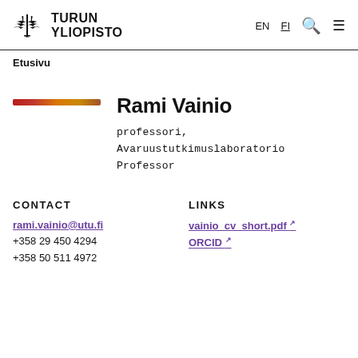TURUN YLIOPISTO — EN FI Search Menu
Etusivu
[Figure (illustration): Decorative horizontal color bar in orange/red/gold gradient]
Rami Vainio
professori, Avaruustutkimuslaboratorio
Professor
CONTACT
LINKS
rami.vainio@utu.fi
+358 29 450 4294
+358 50 511 4972
vainio_cv_short.pdf
ORCID